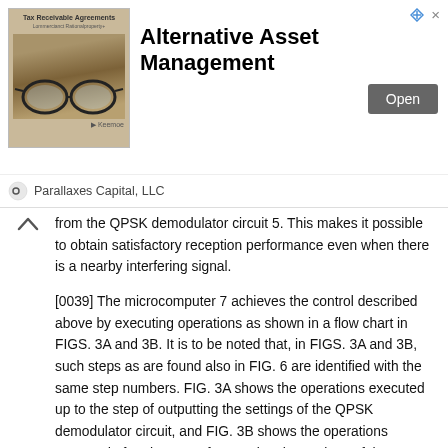[Figure (other): Advertisement banner for Parallaxes Capital LLC - Alternative Asset Management with Tax Receivable Agreements image and Open button]
from the QPSK demodulator circuit 5. This makes it possible to obtain satisfactory reception performance even when there is a nearby interfering signal.
[0039] The microcomputer 7 achieves the control described above by executing operations as shown in a flow chart in FIGS. 3A and 3B. It is to be noted that, in FIGS. 3A and 3B, such steps as are found also in FIG. 6 are identified with the same step numbers. FIG. 3A shows the operations executed up to the step of outputting the settings of the QPSK demodulator circuit, and FIG. 3B shows the operations executed after the step of outputting the settings of the QPSK demodulator circuit. The microcomputer 7 feeds the tuner circuit 4 with channel frequency data S2 according to a tuning command signal SI fed from outside that indicates the channel that the user desires to receive (step #10 in FIG. 3A). This permits the tuner circuit 4 to perform tuning according to the tuning command signal SI.
[0040] Subsequently, according to the tuning command signal SI, the microcomputer 7 calculates the settings (such as that of the data transfer rate of the received signal) of the QPSK demodulator circuit 5 (step #20),